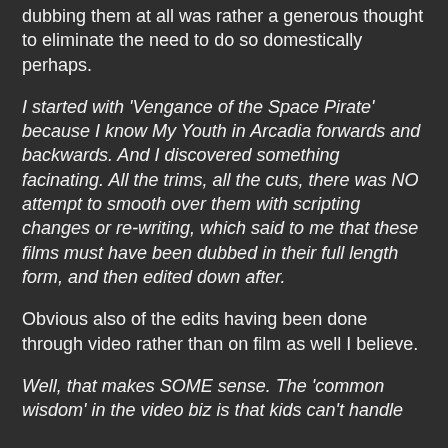dubbing them at all was rather a generous thought to eliminate the need to do so domestically perhaps.
I started with 'Vengance of the Space Pirate' because I know My Youth in Arcadia forwards and backwards. And I discovered something facinating. All the trims, all the cuts, there was NO attempt to smooth over them with scripting changes or re-writing, which said to me that these films must have been dubbed in their full length form, and then edited down after.
Obvious also of the edits having been done through video rather than on film as well I believe.
Well, that makes SOME sense. The 'common wisdom' in the video biz is that kids can't handle